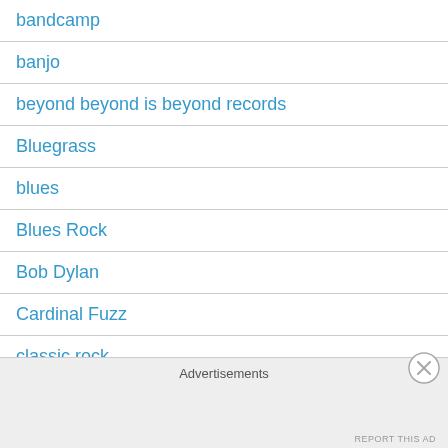bandcamp
banjo
beyond beyond is beyond records
Bluegrass
blues
Blues Rock
Bob Dylan
Cardinal Fuzz
classic rock (partial)
Advertisements
REPORT THIS AD